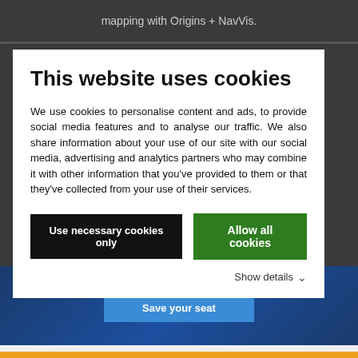mapping with Origins + NavVis.
This website uses cookies
We use cookies to personalise content and ads, to provide social media features and to analyse our traffic. We also share information about your use of our site with our social media, advertising and analytics partners who may combine it with other information that you’ve provided to them or that they’ve collected from your use of their services.
Use necessary cookies only
Allow all cookies
Show details
[Figure (screenshot): Blue banner with 'Save your seat' button, partially visible behind cookie consent modal]
Save your seat